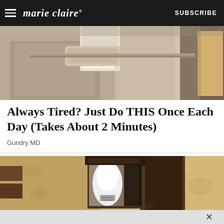marie claire  SUBSCRIBE
[Figure (photo): Person in a light-colored coat handling something near a wall or surface, cropped view of hands and torso]
Always Tired? Just Do THIS Once Each Day (Takes About 2 Minutes)
Gundry MD
[Figure (photo): Close-up of an outdoor wall lantern fixture with a white light bulb visible inside a dark metal frame, mounted on a textured stucco wall]